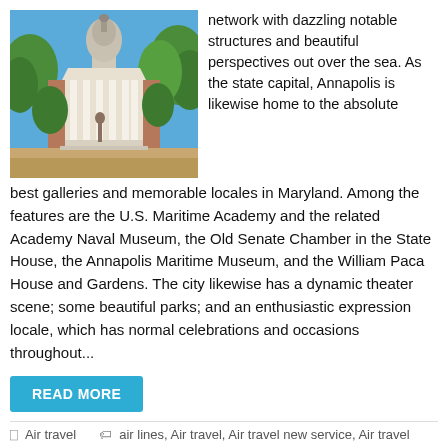[Figure (photo): Photo of a government building (Maryland State House) with a white dome, columns, brick facade, trees, and blue sky]
network with dazzling notable structures and beautiful perspectives out over the sea. As the state capital, Annapolis is likewise home to the absolute best galleries and memorable locales in Maryland. Among the features are the U.S. Maritime Academy and the related Academy Naval Museum, the Old Senate Chamber in the State House, the Annapolis Maritime Museum, and the William Paca House and Gardens. The city likewise has a dynamic theater scene; some beautiful parks; and an enthusiastic expression locale, which has normal celebrations and occasions throughout...
READ MORE
Air travel   air lines, Air travel, Air travel new service, Air travel